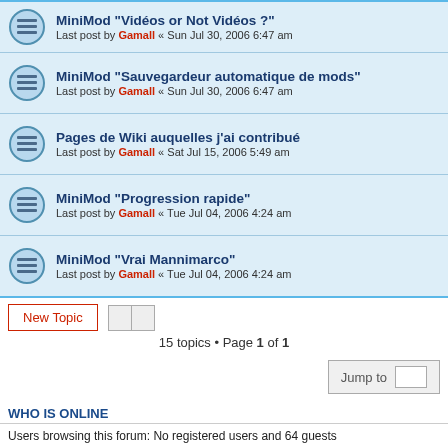MiniMod "Sauvegardeur automatique de mods" — Last post by Gamall « Sun Jul 30, 2006 6:47 am
Pages de Wiki auquelles j'ai contribué — Last post by Gamall « Sat Jul 15, 2006 5:49 am
MiniMod "Progression rapide" — Last post by Gamall « Tue Jul 04, 2006 4:24 am
MiniMod "Vrai Mannimarco" — Last post by Gamall « Tue Jul 04, 2006 4:24 am
15 topics • Page 1 of 1
WHO IS ONLINE
Users browsing this forum: No registered users and 64 guests
FORUM PERMISSIONS
You cannot post new topics in this forum
You cannot reply to topics in this forum
You cannot edit your posts in this forum
You cannot delete your posts in this forum
You cannot post attachments in this forum